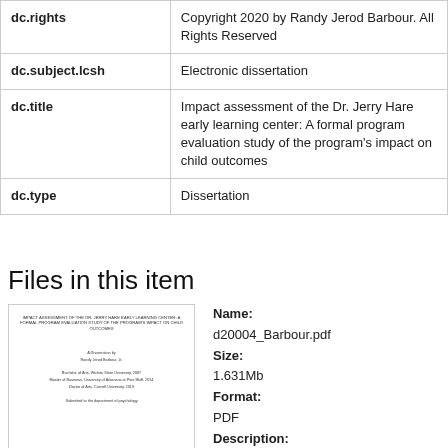| Field | Value |
| --- | --- |
| dc.rights | Copyright 2020 by Randy Jerod Barbour. All Rights Reserved |
| dc.subject.lcsh | Electronic dissertation |
| dc.title | Impact assessment of the Dr. Jerry Hare early learning center: A formal program evaluation study of the program's impact on child outcomes |
| dc.type | Dissertation |
Files in this item
[Figure (photo): Thumbnail of dissertation PDF cover page]
Name: d20004_Barbour.pdf Size: 1.631Mb Format: PDF Description: